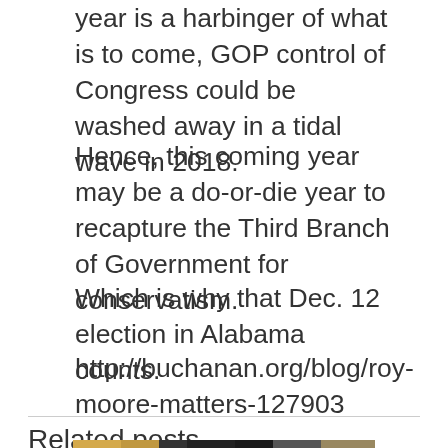year is a harbinger of what is to come, GOP control of Congress could be washed away in a tidal wave in 2018.
Hence, this coming year may be a do-or-die year to recapture the Third Branch of Government for conservatism.
Which is why that Dec. 12 election in Alabama counts.
http://buchanan.org/blog/roy-moore-matters-127903
Related posts
[Figure (photo): A photograph showing people in formal attire, partially visible at the bottom of the page.]